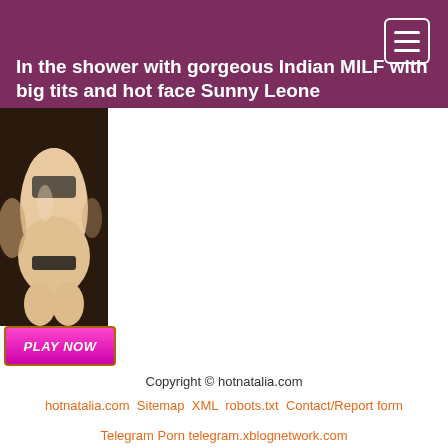In the shower with gorgeous Indian MILF with big tits and hot face Sunny Leone
[Figure (illustration): 3D animated adult illustration showing a figure from behind in lingerie]
[Figure (other): PLAY NOW button in pink/magenta with gold border]
Copyright © hotnatalia.com
hotnatalia.com Sitemap XML robots.txt Contact/Report form
Telegram Porn telegram.xblognetwork.com